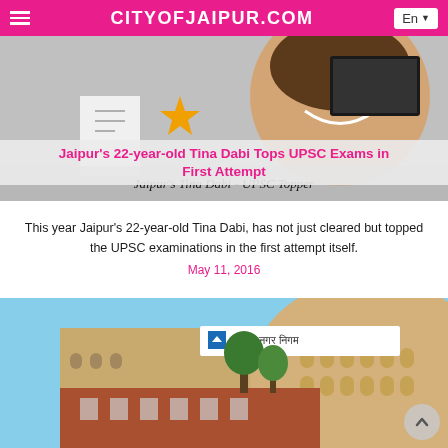CITYOFJAIPUR.COM
[Figure (photo): Photo of Tina Dabi smiling, with Samsung laptop visible in background]
Jaipur's 22-year-old Tina Dabi Tops UPSC Exams in First Attempt
Jaipur's Tina Dabi - UPSC Topper
This year Jaipur's 22-year-old Tina Dabi, has not just cleared but topped the UPSC examinations in the first attempt itself.
May 11, 2016
[Figure (photo): Photo of Jaipur Nagar Nigam building - a circular sandstone structure with Hindi signage]